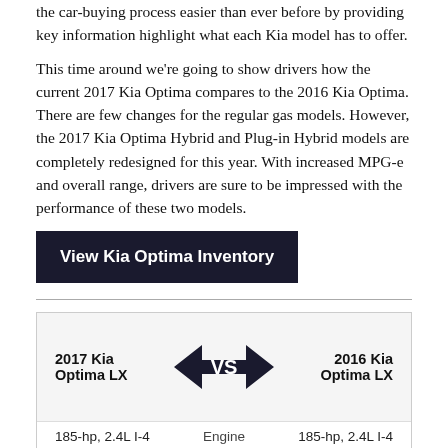the car-buying process easier than ever before by providing key information highlight what each Kia model has to offer.
This time around we’re going to show drivers how the current 2017 Kia Optima compares to the 2016 Kia Optima. There are few changes for the regular gas models. However, the 2017 Kia Optima Hybrid and Plug-in Hybrid models are completely redesigned for this year. With increased MPG-e and overall range, drivers are sure to be impressed with the performance of these two models.
View Kia Optima Inventory
| 2017 Kia Optima LX | VS | 2016 Kia Optima LX |
| --- | --- | --- |
| 185-hp, 2.4L I-4 | Engine | 185-hp, 2.4L I-4 |
| 25 city/36 hwy | MPG | 24 city/35 hwy |